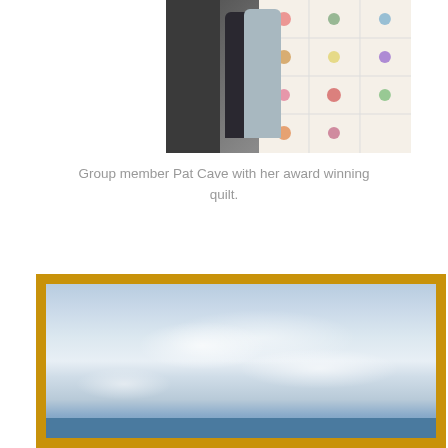[Figure (photo): Two women standing in front of a large white quilt with colorful embroidered floral blocks displayed on a wall or board.]
Group member Pat Cave with her award winning quilt.
[Figure (photo): A textile art piece with a golden/yellow border showing a sky scene with clouds and what appears to be a seascape or landscape below.]